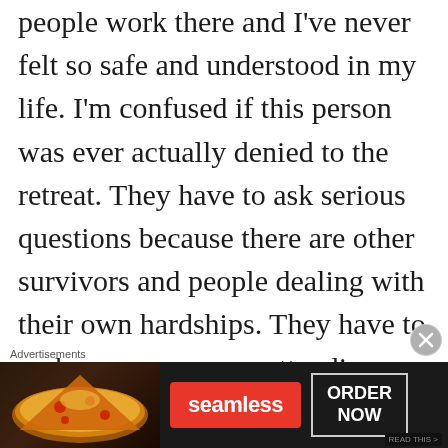people work there and I've never felt so safe and understood in my life. I'm confused if this person was ever actually denied to the retreat. They have to ask serious questions because there are other survivors and people dealing with their own hardships. They have to make sure everyone attending feels safe and is safe, so the questions asked are important, not incriminating. I felt nervous for the intake call but it was fine and I was asked the same questions. I
[Figure (screenshot): Advertisement banner for Seamless food delivery featuring pizza image on dark background, red Seamless logo button, and ORDER NOW button in bordered box]